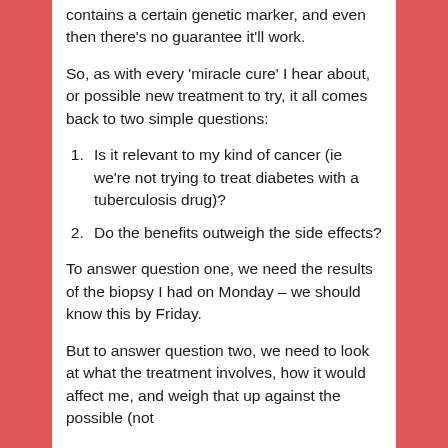contains a certain genetic marker, and even then there's no guarantee it'll work.
So, as with every 'miracle cure' I hear about, or possible new treatment to try, it all comes back to two simple questions:
Is it relevant to my kind of cancer (ie we're not trying to treat diabetes with a tuberculosis drug)?
Do the benefits outweigh the side effects?
To answer question one, we need the results of the biopsy I had on Monday – we should know this by Friday.
But to answer question two, we need to look at what the treatment involves, how it would affect me, and weigh that up against the possible (not